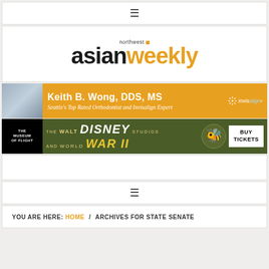≡ (hamburger menu)
[Figure (logo): Northwest Asian Weekly logo with orange square accent, bold black 'asian' and orange 'weekly' text]
[Figure (photo): Advertisement banner: Keith B. Wong, DDS, MS - Seattle's Top Rated Orthodontist and Invisalign Expert, orange background with photo and Invisalign logo]
[Figure (photo): Advertisement banner: The Museum of Flight presents The Walt Disney Studios and World War II exhibition, buy tickets, olive green background]
≡ (hamburger menu)
YOU ARE HERE: HOME / ARCHIVES FOR STATE SENATE